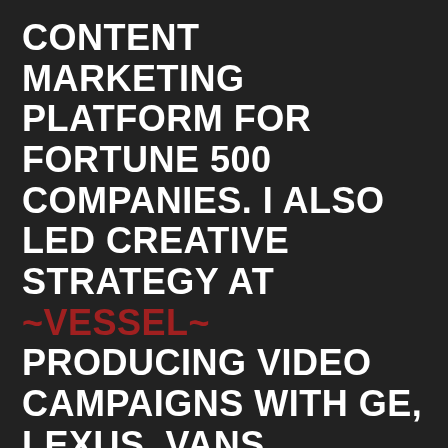CONTENT MARKETING PLATFORM FOR FORTUNE 500 COMPANIES. I ALSO LED CREATIVE STRATEGY AT ~VESSEL~ PRODUCING VIDEO CAMPAIGNS WITH GE, LEXUS, VANS, CONVERSE, MAD DECENT, LOOP&TIE, AND STOLI.

I'M CURRENTLY SCRIBING STORIES FOR NEWLAB ABOUT EMERGING TECH, THE FUTURE OF HUMANITY,